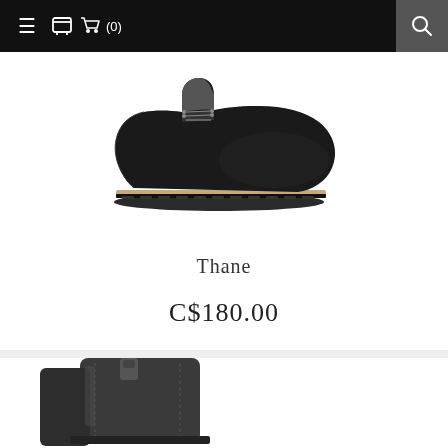≡  🛒 (0)  🔍
[Figure (photo): Black leather chukka/work boot with grey fabric panel, lace-up front, and tan/black lug sole, shown in profile on white background]
Thane
C$180.00
[Figure (photo): Dark grey/black tall boot with pull tab, shown partially cropped at bottom of page]